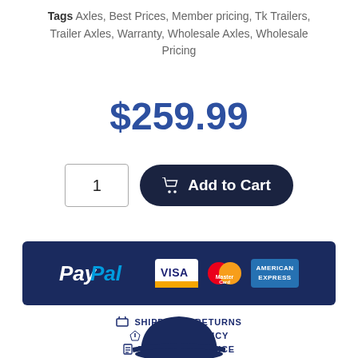Tags Axles, Best Prices, Member pricing, Tk Trailers, Trailer Axles, Warranty, Wholesale Axles, Wholesale Pricing
$259.99
[Figure (screenshot): Quantity input box showing '1' and a dark navy 'Add to Cart' button with a shopping cart icon]
[Figure (infographic): Dark navy payment methods banner showing PayPal, Visa, MasterCard, and American Express logos]
SHIPPING & RETURNS
PRIVACY POLICY
TERMS OF SERVICE
[Figure (illustration): Partial view of a dark navy hat at the bottom of the page]